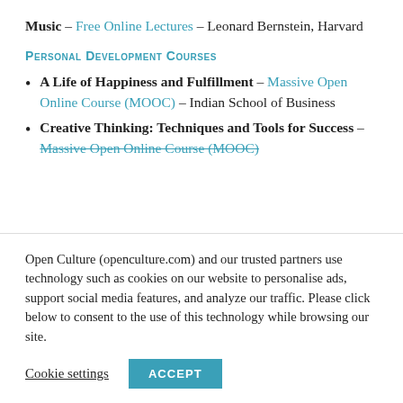Music – Free Online Lectures – Leonard Bernstein, Harvard
Personal Development Courses
A Life of Happiness and Fulfillment – Massive Open Online Course (MOOC) – Indian School of Business
Creative Thinking: Techniques and Tools for Success – Massive Open Online Course (MOOC)
Open Culture (openculture.com) and our trusted partners use technology such as cookies on our website to personalise ads, support social media features, and analyze our traffic. Please click below to consent to the use of this technology while browsing our site.
Cookie settings   ACCEPT